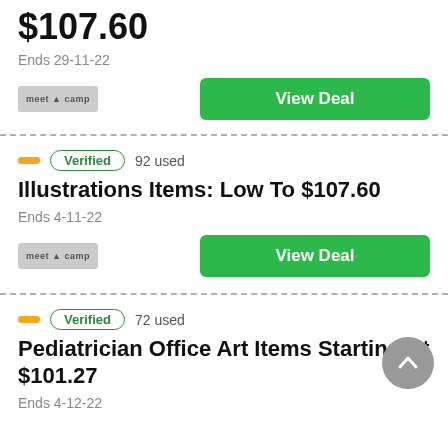$107.60
Ends 29-11-22
[Figure (logo): MeetCamping or similar retailer logo (gray placeholder)]
View Deal
Verified  92 used
Illustrations Items: Low To $107.60
Ends 4-11-22
[Figure (logo): MeetCamping or similar retailer logo (gray placeholder)]
View Deal
Verified  72 used
Pediatrician Office Art Items Starting At $101.27
Ends 4-12-22